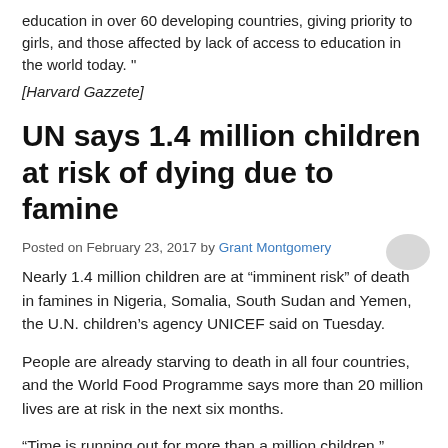education in over 60 developing countries, giving priority to girls, and those affected by lack of access to education in the world today. "
[Harvard Gazzete]
UN says 1.4 million children at risk of dying due to famine
Posted on February 23, 2017 by Grant Montgomery
Nearly 1.4 million children are at “imminent risk” of death in famines in Nigeria, Somalia, South Sudan and Yemen, the U.N. children’s agency UNICEF said on Tuesday.
People are already starving to death in all four countries, and the World Food Programme says more than 20 million lives are at risk in the next six months.
“Time is running out for more than a million children,” UNICEF